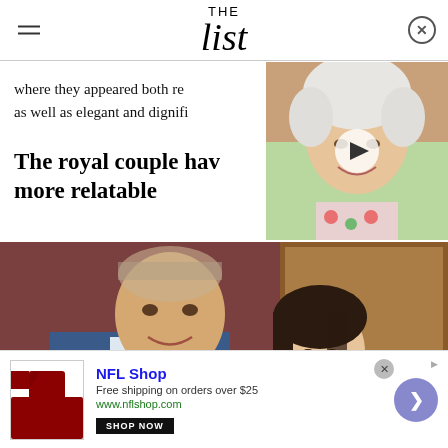THE List
where they appeared both re as well as elegant and dignifi
The royal couple hav more relatable
[Figure (photo): Video thumbnail showing Queen Elizabeth II smiling, with a white play button overlay]
[Figure (photo): Photo of Prince William in a blue suit leaning toward a smiling woman with dark hair, in front of a gold-framed painting on a dark red wall]
NFL Shop
Free shipping on orders over $25
www.nflshop.com
SHOP NOW